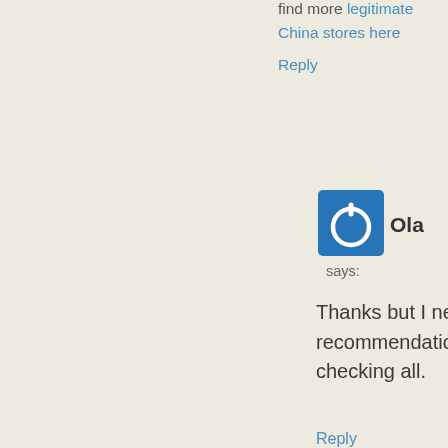find more legitimate China stores here
Reply
[Figure (logo): Blue square icon with white power/circle symbol - user avatar for Ola]
Ola
says:
Thanks but I need a specific recommendation please. Been checking all.
Reply
[Figure (photo): Photo of a smiling man with short gray hair - user avatar for Bastiaan]
Bastiaan
says: